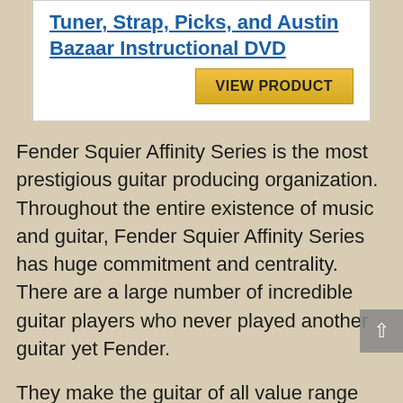Tuner, Strap, Picks, and Austin Bazaar Instructional DVD
[Figure (other): VIEW PRODUCT button with gold/yellow gradient background]
Fender Squier Affinity Series is the most prestigious guitar producing organization. Throughout the entire existence of music and guitar, Fender Squier Affinity Series has huge commitment and centrality. There are a large number of incredible guitar players who never played another guitar yet Fender.
They make the guitar of all value range for all scopes of the player. It doesn’t make a difference on the off chance that you need a spending guitar or a top of line one, or on the off chance that you are a...